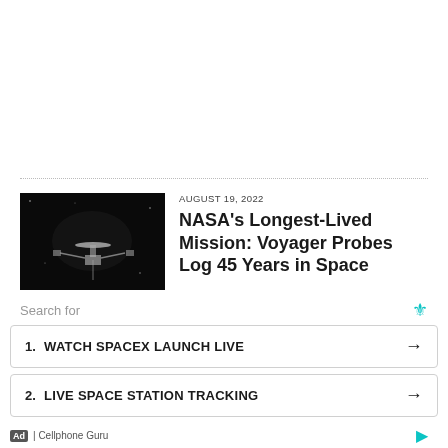[Figure (photo): Dark background section representing advertisement space at top]
[Figure (photo): Black and white image of NASA Voyager spacecraft probe]
AUGUST 19, 2022
NASA's Longest-Lived Mission: Voyager Probes Log 45 Years in Space
[Figure (photo): Satellite view of clouds or storm system over a region]
AUGUST 18, 2022
Fireball Lights Up the Sky Over Salt Lake City – 16 Times...
Search for
1.  WATCH SPACEX LAUNCH LIVE  →
2.  LIVE SPACE STATION TRACKING  →
Ad | Cellphone Guru